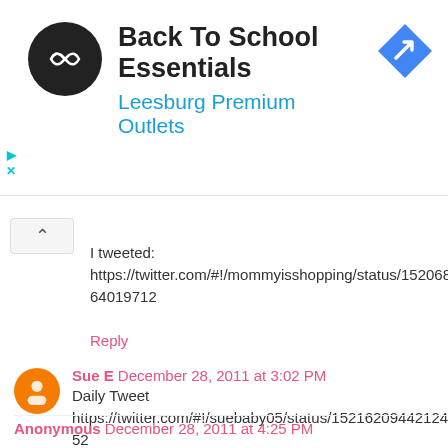[Figure (screenshot): Advertisement banner for Back To School Essentials at Leesburg Premium Outlets with logo and navigation icon]
I tweeted: https://twitter.com/#!/mommyisshopping/status/152068083564019712
Reply
Sue E  December 28, 2011 at 3:02 PM
Daily Tweet https://twitter.com/#!/suebaby05/status/152162094421245952

suebee05@gmail.com
Reply
Anonymous  December 28, 2011 at 4:25 PM